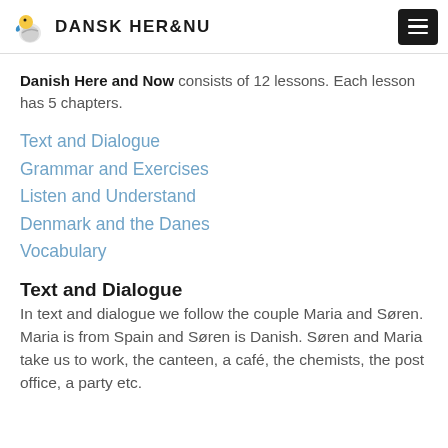DANSK HER&NU
Danish Here and Now consists of 12 lessons. Each lesson has 5 chapters.
Text and Dialogue
Grammar and Exercises
Listen and Understand
Denmark and the Danes
Vocabulary
Text and Dialogue
In text and dialogue we follow the couple Maria and Søren. Maria is from Spain and Søren is Danish. Søren and Maria take us to work, the canteen, a café, the chemists, the post office, a party etc.